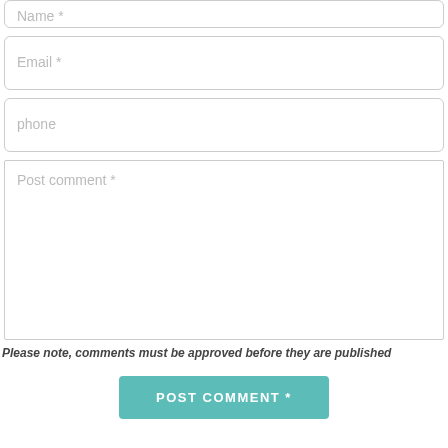[Figure (screenshot): Web form with Name, Email, phone input fields, a Post comment textarea, a note about comment approval, and a POST COMMENT button]
Please note, comments must be approved before they are published
POST COMMENT *